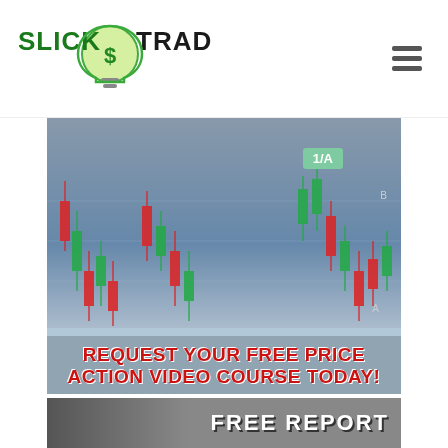[Figure (logo): SlickTrade logo with green lightbulb containing dollar sign, green and black text]
[Figure (photo): Man in suit with candlestick trading chart overlay, tag label showing 1/A, B and A markers visible. Red text: REQUEST YOUR FREE PRICE ACTION VIDEO COURSE TODAY!]
[Figure (photo): Bottom banner partially visible showing FREE REPORT text in white bold letters on dark background]